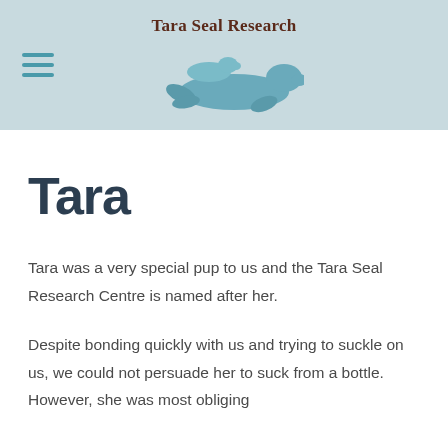Tara Seal Research
Tara
Tara was a very special pup to us and the Tara Seal Research Centre is named after her.
Despite bonding quickly with us and trying to suckle on us, we could not persuade her to suck from a bottle. However, she was most obliging